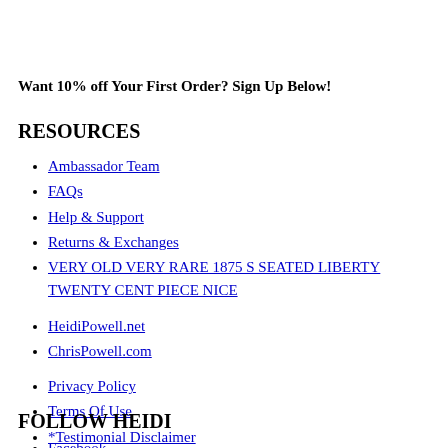Want 10% off Your First Order? Sign Up Below!
RESOURCES
Ambassador Team
FAQs
Help & Support
Returns & Exchanges
VERY OLD VERY RARE 1875 S SEATED LIBERTY TWENTY CENT PIECE NICE
HeidiPowell.net
ChrisPowell.com
Privacy Policy
Terms Of Use
*Testimonial Disclaimer
FOLLOW HEIDI
Facebook